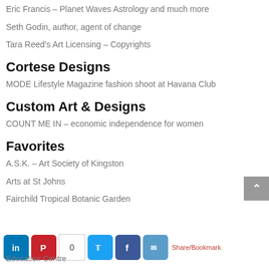Eric Francis – Planet Waves Astrology and much more
Seth Godin, author, agent of change
Tara Reed's Art Licensing – Copyrights
Cortese Designs
MODE Lifestyle Magazine fashion shoot at Havana Club
Custom Art & Designs
COUNT ME IN – economic independence for women
Favorites
A.S.K. – Art Society of Kingston
Arts at St Johns
Fairchild Tropical Botanic Garden
Education Centre